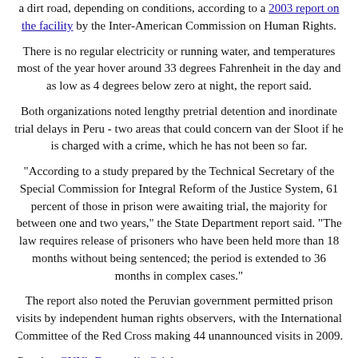a dirt road, depending on conditions, according to a 2003 report on the facility by the Inter-American Commission on Human Rights.
There is no regular electricity or running water, and temperatures most of the year hover around 33 degrees Fahrenheit in the day and as low as 4 degrees below zero at night, the report said.
Both organizations noted lengthy pretrial detention and inordinate trial delays in Peru - two areas that could concern van der Sloot if he is charged with a crime, which he has not been so far.
"According to a study prepared by the Technical Secretary of the Special Commission for Integral Reform of the Justice System, 61 percent of those in prison were awaiting trial, the majority for between one and two years," the State Department report said. "The law requires release of prisoners who have been held more than 18 months without being sentenced; the period is extended to 36 months in complex cases."
The report also noted the Peruvian government permitted prison visits by independent human rights observers, with the International Committee of the Red Cross making 44 unannounced visits in 2009.
Post by: CNN's Emanuella Grinberg